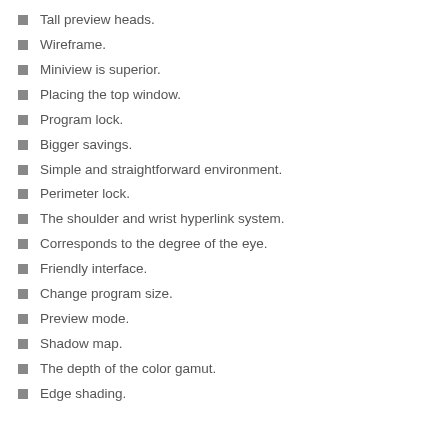Tall preview heads.
Wireframe.
Miniview is superior.
Placing the top window.
Program lock.
Bigger savings.
Simple and straightforward environment.
Perimeter lock.
The shoulder and wrist hyperlink system.
Corresponds to the degree of the eye.
Friendly interface.
Change program size.
Preview mode.
Shadow map.
The depth of the color gamut.
Edge shading.